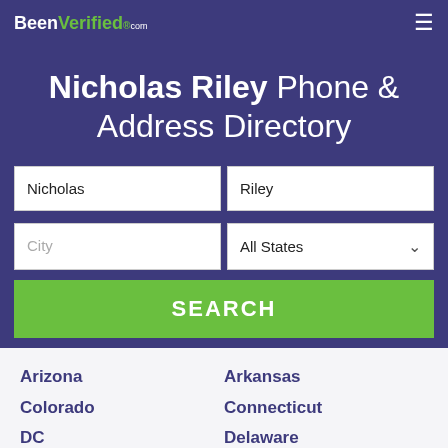BeenVerified.com
Nicholas Riley Phone & Address Directory
Nicholas | Riley
City | All States
SEARCH
Arizona
Arkansas
Colorado
Connecticut
DC
Delaware